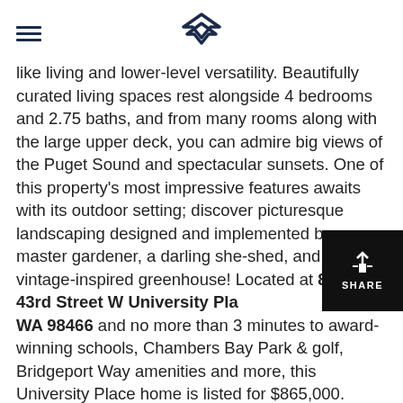[hamburger menu] [logo]
like living and lower-level versatility. Beautifully curated living spaces rest alongside 4 bedrooms and 2.75 baths, and from many rooms along with the large upper deck, you can admire big views of the Puget Sound and spectacular sunsets. One of this property's most impressive features awaits with its outdoor setting; discover picturesque landscaping designed and implemented by a master gardener, a darling she-shed, and a vintage-inspired greenhouse! Located at 8615 43rd Street W University Place, WA 98466 and no more than 3 minutes to award-winning schools, Chambers Bay Park & golf, Bridgeport Way amenities and more, this University Place home is listed for $865,000.
Take a moment to explore this home's 7 most impressive features: